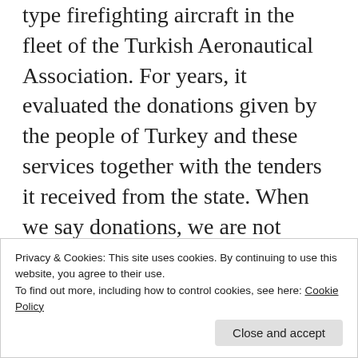type firefighting aircraft in the fleet of the Turkish Aeronautical Association. For years, it evaluated the donations given by the people of Turkey and these services together with the tenders it received from the state. When we say donations, we are not talking about small donations. A significant number of real estate or land in many parts of Turkey are included in these donations. I am using the past tense about the institution, because it was learned that, in fact, a trustee was appointed to the Turkish air institution by the government. In
Privacy & Cookies: This site uses cookies. By continuing to use this website, you agree to their use.
To find out more, including how to control cookies, see here: Cookie Policy